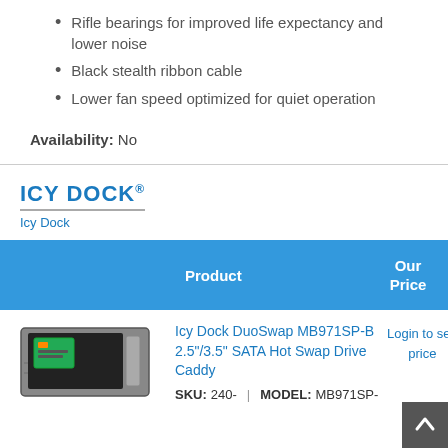Rifle bearings for improved life expectancy and lower noise
Black stealth ribbon cable
Lower fan speed optimized for quiet operation
Availability: No
[Figure (logo): ICY DOCK logo with blue text and underline]
Icy Dock
| Product | Our Price |
| --- | --- |
| Icy Dock DuoSwap MB971SP-B 2.5"/3.5" SATA Hot Swap Drive Caddy
SKU: 240-  |  MODEL: MB971SP- | Login to see price |